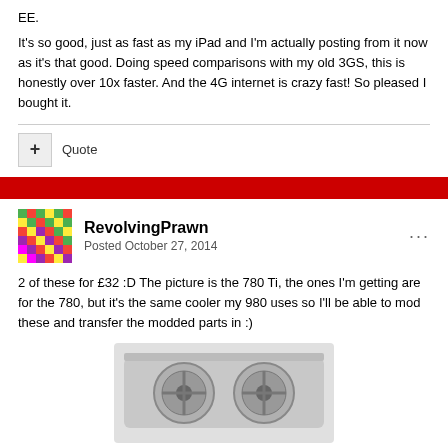EE.
It's so good, just as fast as my iPad and I'm actually posting from it now as it's that good. Doing speed comparisons with my old 3GS, this is honestly over 10x faster. And the 4G internet is crazy fast! So pleased I bought it.
+ Quote
RevolvingPrawn
Posted October 27, 2014
2 of these for £32 :D The picture is the 780 Ti, the ones I'm getting are for the 780, but it's the same cooler my 980 uses so I'll be able to mod these and transfer the modded parts in :)
[Figure (photo): Partial image of a GPU (graphics card) cooler, appearing to be an NVIDIA design, showing fans and metal casing in silver/black.]